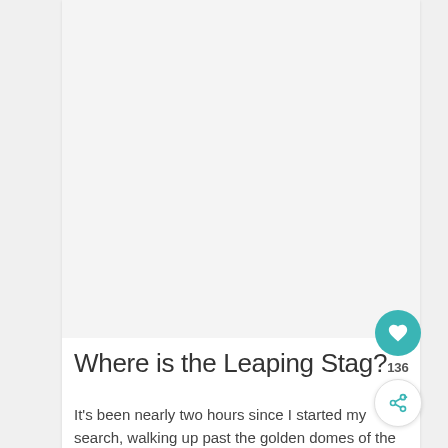[Figure (other): Large blank/light gray image placeholder area at the top of the article card]
Where is the Leaping Stag?
It's been nearly two hours since I started my search, walking up past the golden domes of the
[Figure (other): Floating teal circular heart/like button with count 136 and share button below]